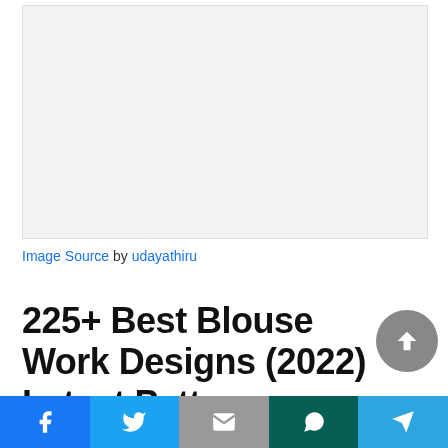[Figure (photo): Large light gray placeholder image area at the top of the page]
Image Source by udayathiru
225+ Best Blouse Work Designs (2022) Latest Patterns,
[Figure (other): Social share bar at the bottom with Facebook, Twitter, Gmail/Email, WhatsApp, and Telegram icons]